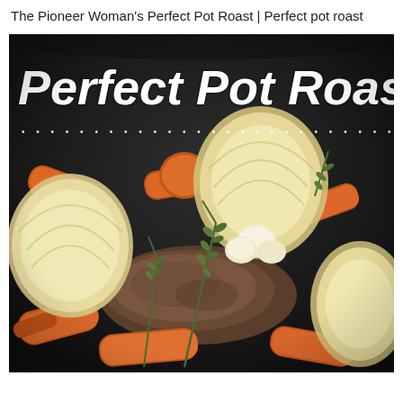The Pioneer Woman's Perfect Pot Roast | Perfect pot roast
[Figure (photo): A food photograph showing a perfect pot roast in a dark cast-iron pot with carrots, onions, garlic, and fresh thyme sprigs. The image has a white italic script overlay text reading 'Perfect Pot Roast' in large white font at the top, followed by a row of decorative dots.]